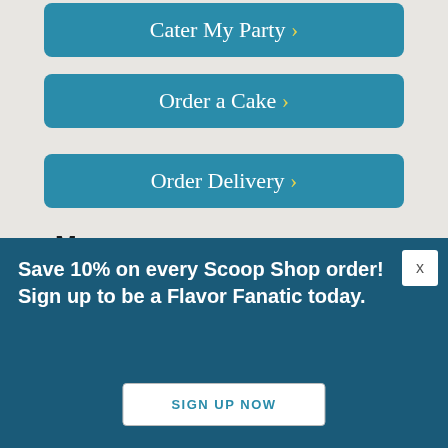[Figure (screenshot): Teal rounded button: Cater My Party with yellow chevron]
[Figure (screenshot): Teal rounded button: Order a Cake with yellow chevron]
[Figure (screenshot): Teal rounded button: Order Delivery with yellow chevron]
Menu
[Figure (screenshot): Menu row with ice cream cups photo, Flavors » ▼ label, and teal plus button]
[Figure (screenshot): Menu row with pints photo, Pints » ▼ label, and teal plus button]
Save 10% on every Scoop Shop order! Sign up to be a Flavor Fanatic today.
[Figure (screenshot): SIGN UP NOW button in white on dark teal popup overlay]